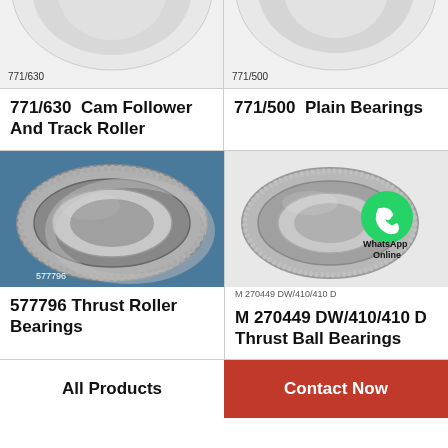[Figure (photo): Partial top view of 771/630 Cam Follower And Track Roller bearing, white background, part number label 771/630]
[Figure (photo): Partial top view of 771/500 Plain Bearings, white background, part number label 771/500]
771/630  Cam Follower And Track Roller
771/500  Plain Bearings
[Figure (photo): 577796 Thrust Roller Bearings — double-row tapered roller bearing on blue background, part number label 577796]
[Figure (photo): M 270449 DW/410/410 D Thrust Ball Bearings with WhatsApp Online overlay icon, part number label M 270449 DW/410/410 D]
577796 Thrust Roller Bearings
M 270449 DW/410/410 D Thrust Ball Bearings
All Products
Contact Now